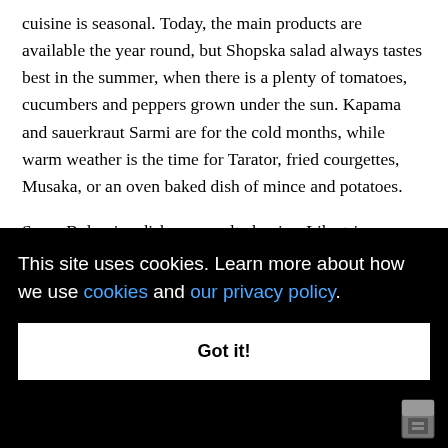cuisine is seasonal. Today, the main products are available the year round, but Shopska salad always tastes best in the summer, when there is a plenty of tomatoes, cucumbers and peppers grown under the sun. Kapama and sauerkraut Sarmi are for the cold months, while warm weather is the time for Tarator, fried courgettes, Musaka, or an oven baked dish of mince and potatoes.
Some Bulgarian dishes are cult classics. Like tripe soup. Plenty of people claim that it is the best way to begin the day after a night with too much drinking. The spit- [way to] [he]
This site uses cookies. Learn more about how we use cookies and our privacy policy.
Got it!